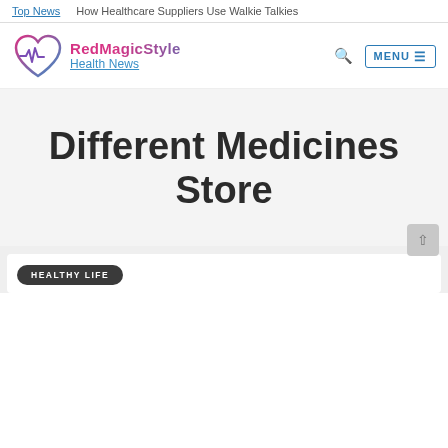Top News   How Healthcare Suppliers Use Walkie Talkies
[Figure (logo): RedMagicStyle Health News logo with heart and EKG line graphic]
Different Medicines Store
HEALTHY LIFE